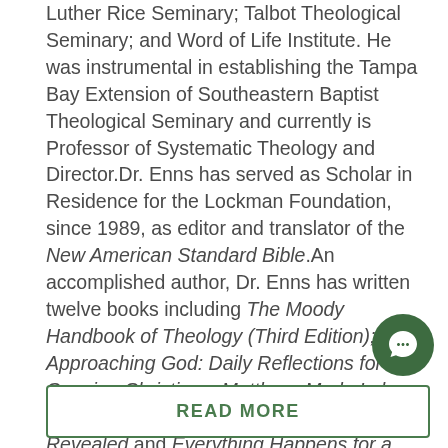Luther Rice Seminary; Talbot Theological Seminary; and Word of Life Institute. He was instrumental in establishing the Tampa Bay Extension of Southeastern Baptist Theological Seminary and currently is Professor of Systematic Theology and Director.Dr. Enns has served as Scholar in Residence for the Lockman Foundation, since 1989, as editor and translator of the New American Standard Bible.An accomplished author, Dr. Enns has written twelve books including The Moody Handbook of Theology (Third Edition); Approaching God: Daily Reflections for Growing Christians; Matthew, Mark, Luke, John Gospel Commentary; Heaven Revealed and Everything Happens for a Reason. Dr. Enns enjoyed 45+ years with his beloved wife Helen before her homegoing to heaven in 2005. He resides in the Tampa area and has two sons.
READ MORE